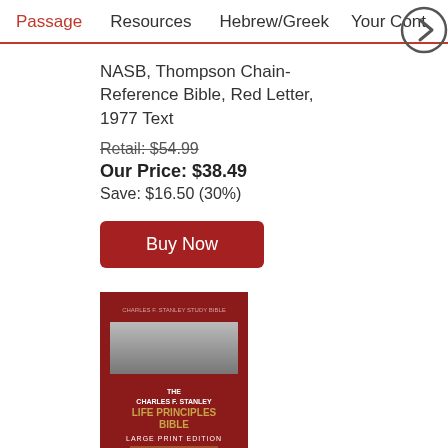Passage | Resources | Hebrew/Greek | Your Cont…
NASB, Thompson Chain-Reference Bible, Red Letter, 1977 Text
Retail: $54.99
Our Price: $38.49
Save: $16.50 (30%)
Buy Now
[Figure (photo): Book cover of NASB The Charles F. Stanley Life Principles Bible, Large Print Edition — dark red cover with small image]
NASB, The Charles F. Stanley